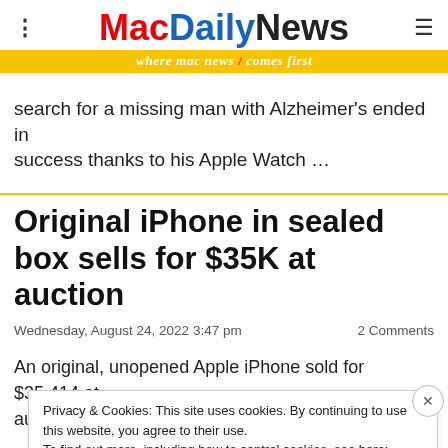MacDailyNews — where mac news comes first
search for a missing man with Alzheimer's ended in success thanks to his Apple Watch …
Original iPhone in sealed box sells for $35K at auction
Wednesday, August 24, 2022 3:47 pm    2 Comments
An original, unopened Apple iPhone sold for $35,414 at auction last week, showing how iconic the
Privacy & Cookies: This site uses cookies. By continuing to use this website, you agree to their use. To find out more, including how to control cookies, see here: Cookie Policy